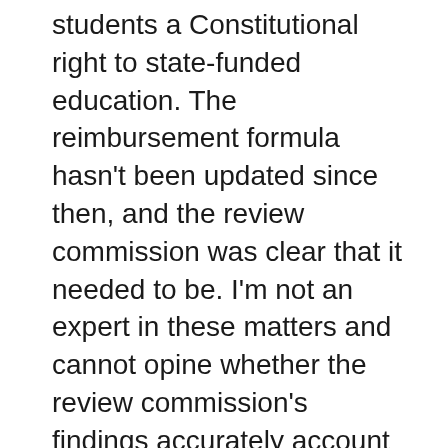students a Constitutional right to state-funded education. The reimbursement formula hasn't been updated since then, and the review commission was clear that it needed to be. I'm not an expert in these matters and cannot opine whether the review commission's findings accurately account these costs, but that's no longer up for debate. The Baker budget funds them all. Indeed, the Baker budget provides for funding, beginning in 2021, some school costs other than those cited by the review commission.
Complaint arises because the state Senate and House differed on how to implement the Foundation funds change. The Senate wanted them funded all at once; the House voted for a